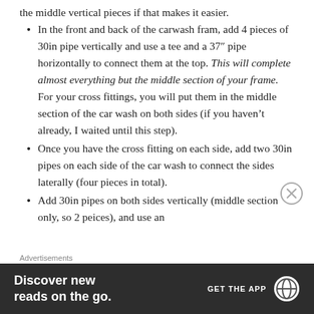the middle vertical pieces if that makes it easier.
In the front and back of the carwash fram, add 4 pieces of 30in pipe vertically and use a tee and a 37″ pipe horizontally to connect them at the top. This will complete almost everything but the middle section of your frame. For your cross fittings, you will put them in the middle section of the car wash on both sides (if you haven't already, I waited until this step).
Once you have the cross fitting on each side, add two 30in pipes on each side of the car wash to connect the sides laterally (four pieces in total).
Add 30in pipes on both sides vertically (middle section only, so 2 peices), and use an
Advertisements
[Figure (other): WordPress app advertisement banner: 'Discover new reads on the go.' with GET THE APP button and WordPress logo]